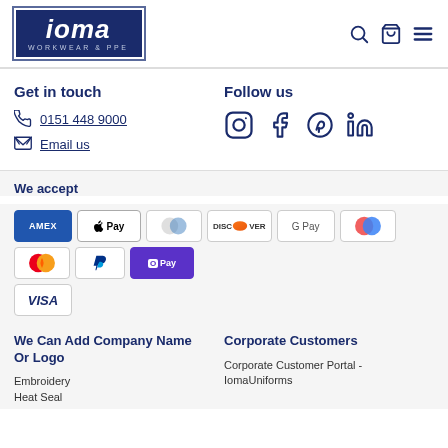[Figure (logo): IOMA Workwear & PPE logo, dark navy background with white italic text]
Get in touch
0151 448 9000
Email us
Follow us
[Figure (infographic): Social media icons: Instagram, Facebook, Pinterest, LinkedIn]
We accept
[Figure (infographic): Payment method icons: Amex, Apple Pay, Diners, Discover, Google Pay, Maestro, Mastercard, PayPal, Shop Pay, Visa]
We Can Add Company Name Or Logo
Embroidery
Heat Seal
Corporate Customers
Corporate Customer Portal - IomaUniforms